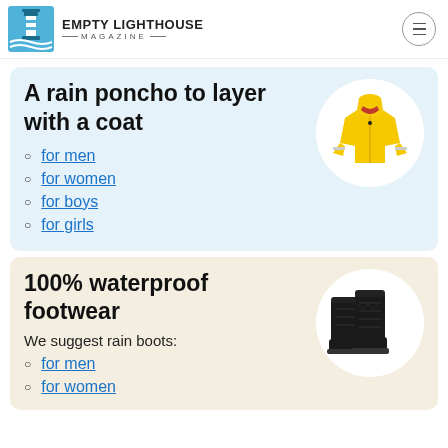EMPTY LIGHTHOUSE MAGAZINE
A rain poncho to layer with a coat
for men
for women
for boys
for girls
[Figure (photo): Yellow rain jacket/poncho]
100% waterproof footwear
We suggest rain boots:
for men
for women
[Figure (photo): Black rain boots]